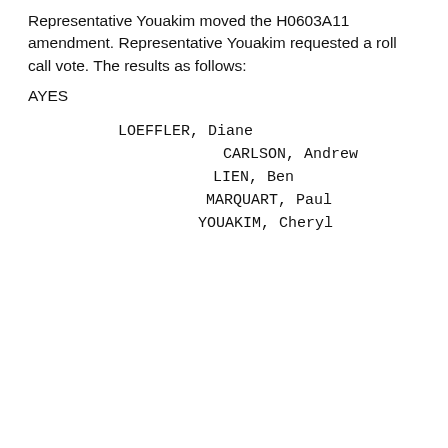Representative Youakim moved the H0603A11 amendment. Representative Youakim requested a roll call vote. The results as follows:
AYES
LOEFFLER, Diane
CARLSON, Andrew
LIEN, Ben
MARQUART, Paul
YOUAKIM, Cheryl